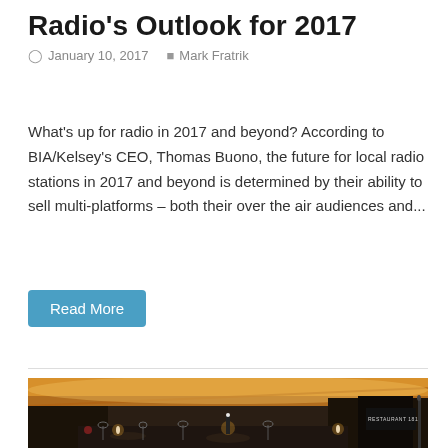Radio's Outlook for 2017
January 10, 2017   Mark Fratrik
What's up for radio in 2017 and beyond? According to BIA/Kelsey's CEO, Thomas Buono, the future for local radio stations in 2017 and beyond is determined by their ability to sell multi-platforms – both their over the air audiences and...
Read More
[Figure (photo): Interior of a restaurant with warm golden ceiling lighting, dining tables set with glassware and candles, dark walls, a sign reading RESTAURANT 181 visible in the background.]